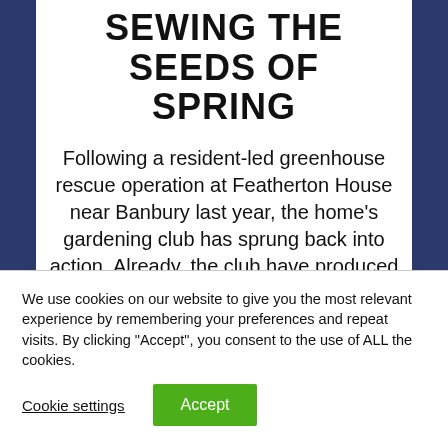SEWING THE SEEDS OF SPRING
Following a resident-led greenhouse rescue operation at Featherton House near Banbury last year, the home's gardening club has sprung back into action. Already, the club have produced some delicious lettuces and radishes which have been served in the home's dining room. The
We use cookies on our website to give you the most relevant experience by remembering your preferences and repeat visits. By clicking "Accept", you consent to the use of ALL the cookies.
Cookie settings  Accept